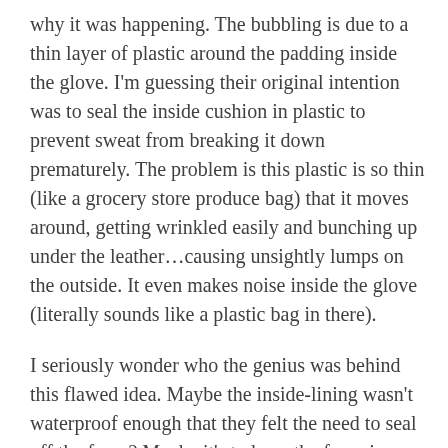why it was happening. The bubbling is due to a thin layer of plastic around the padding inside the glove. I'm guessing their original intention was to seal the inside cushion in plastic to prevent sweat from breaking it down prematurely. The problem is this plastic is so thin (like a grocery store produce bag) that it moves around, getting wrinkled easily and bunching up under the leather…causing unsightly lumps on the outside. It even makes noise inside the glove (literally sounds like a plastic bag in there).
I seriously wonder who the genius was behind this flawed idea. Maybe the inside-lining wasn't waterproof enough that they felt the need to seal off the foam? Maybe it's to keep the foam in place or to hold its form? Or maybe it was a well-intended extra effort to make the gloves more durable? We'll never know.